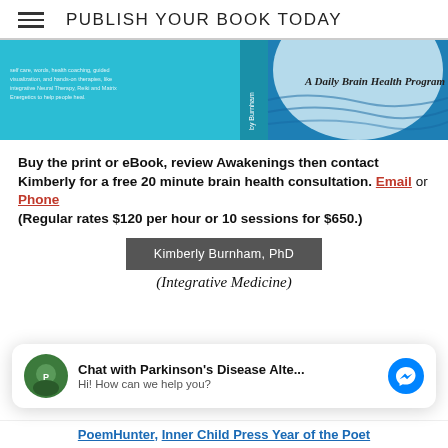PUBLISH YOUR BOOK TODAY
[Figure (illustration): Book cover banner showing a blue/teal background with ocean wave imagery and the text 'A Daily Brain Health Program' with 'by Burnham' visible on the spine.]
Buy the print or eBook, review Awakenings then contact Kimberly for a free 20 minute brain health consultation. Email or Phone (Regular rates $120 per hour or 10 sessions for $650.)
Kimberly Burnham, PhD
(Integrative Medicine)
Chat with Parkinson's Disease Alte... Hi! How can we help you?
PoemHunter, Inner Child Press Year of the Poet